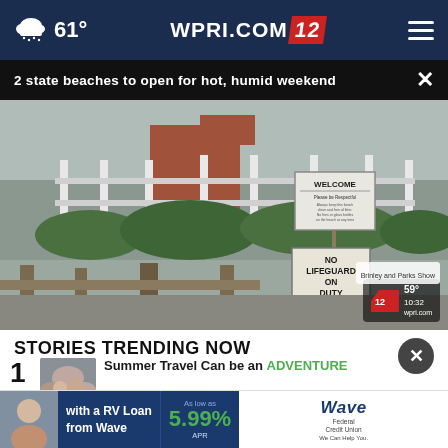61° WPRI.COM 12
2 state beaches to open for hot, humid weekend
[Figure (photo): Beach entrance with a fence, a 'Welcome' sign and a 'No Lifeguard On Duty' sign. WPRI.com 12 watermark visible in bottom right corner with temperature 59° and time 10:32.]
STORIES TRENDING NOW
Summer Travel Can be an ADVENTURE
with a RV Loan from Wave  As low as 5.99% APR  Wave Federal Credit Union  We Can Help You.